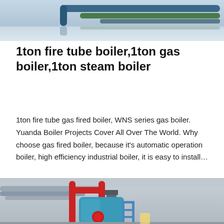[Figure (photo): Industrial boiler room interior with pipes and equipment, top portion showing ceiling pipes in blue-green tones]
1ton fire tube boiler,1ton gas boiler,1ton steam boiler
1ton fire tube gas fired boiler, WNS series gas boiler. Yuanda Boiler Projects Cover All Over The World. Why choose gas fired boiler, because it's automatic operation boiler, high efficiency industrial boiler, it is easy to install…
[Figure (photo): Industrial gas boiler installation with blue boiler body, red pipes, chimney stack, and scaffolding in a factory building]
Get Price